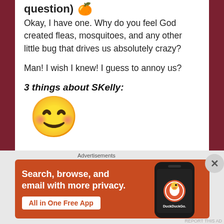question)
Okay, I have one. Why do you feel God created fleas, mosquitoes, and any other little bug that drives us absolutely crazy?
Man! I wish I knew! I guess to annoy us?
3 things about SKelly:
[Figure (illustration): Yellow smiley face emoji]
Advertisements
[Figure (screenshot): DuckDuckGo advertisement banner: Search, browse, and email with more privacy. All in One Free App. Shows DuckDuckGo logo on a phone.]